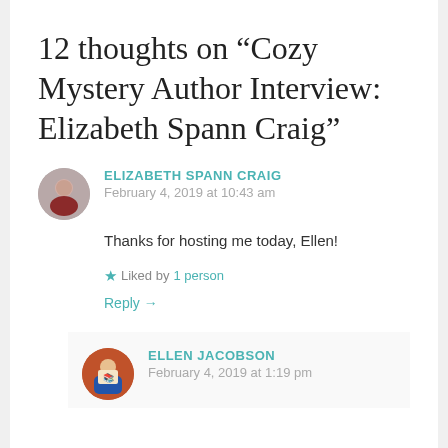12 thoughts on “Cozy Mystery Author Interview: Elizabeth Spann Craig”
ELIZABETH SPANN CRAIG
February 4, 2019 at 10:43 am
Thanks for hosting me today, Ellen!
Liked by 1 person
Reply →
ELLEN JACOBSON
February 4, 2019 at 1:19 pm